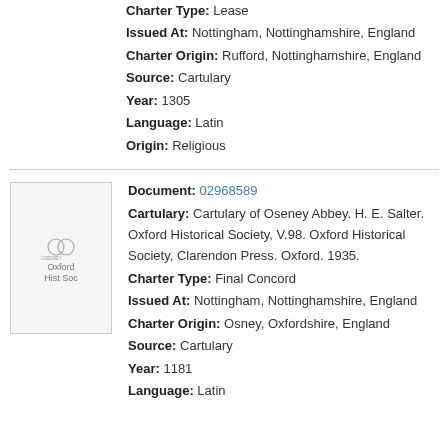Charter Type: Lease
Issued At: Nottingham, Nottinghamshire, England
Charter Origin: Rufford, Nottinghamshire, England
Source: Cartulary
Year: 1305
Language: Latin
Origin: Religious
[Figure (other): Thumbnail image of a book/cartulary document]
Document: 02968589
Cartulary: Cartulary of Oseney Abbey. H. E. Salter. Oxford Historical Society, V.98. Oxford Historical Society, Clarendon Press. Oxford. 1935.
Charter Type: Final Concord
Issued At: Nottingham, Nottinghamshire, England
Charter Origin: Osney, Oxfordshire, England
Source: Cartulary
Year: 1181
Language: Latin